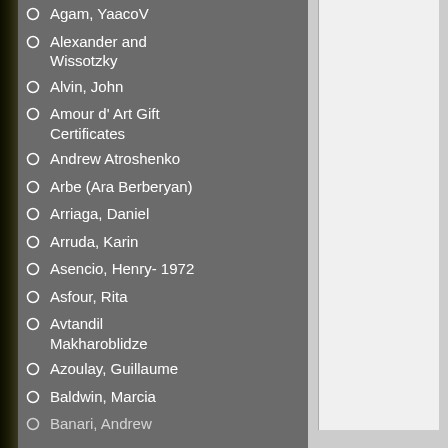Agam, Yaaacov
Alexander and Wissotzky
Alvin, John
Amour d' Art Gift Certificates
Andrew Atroshenko
Arbe (Ara Berberyan)
Arriaga, Daniel
Arruda, Karin
Asencio, Henry- 1972
Asfour, Rita
Avtandil Makharoblidze
Azoulay, Guillaume
Baldwin, Marcia
Banari, Andrew
ORIGINAL Oil/Acr
Your Price:$450.0
Edition Size: Orig
Piece Size: 16.00
Shipping Method
View Mark Kaz...
Other Works by